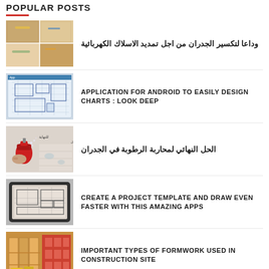POPULAR POSTS
وداعا لتكسير الجدران من اجل تمديد الاسلاك الكهربائية
APPLICATION FOR ANDROID TO EASILY DESIGN CHARTS : LOOK DEEP
الحل النهائي لمحاربة الرطوبة في الجدران
CREATE A PROJECT TEMPLATE AND DRAW EVEN FASTER WITH THIS AMAZING APPS
IMPORTANT TYPES OF FORMWORK USED IN CONSTRUCTION SITE